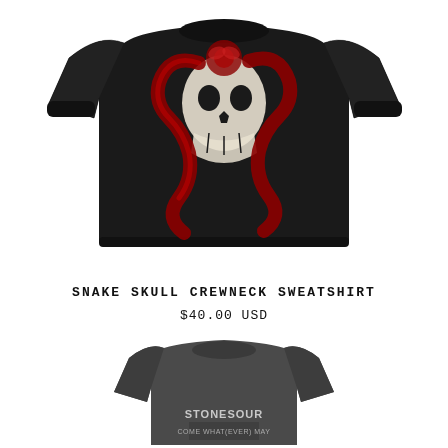[Figure (photo): Black crewneck sweatshirt with a skull and snake graphic design in white and red/crimson colors on the chest, displayed flat on white background]
SNAKE SKULL CREWNECK SWEATSHIRT
$40.00 USD
[Figure (photo): Dark gray/charcoal t-shirt with Stone Sour band graphic print, partially visible, displayed flat on white background]